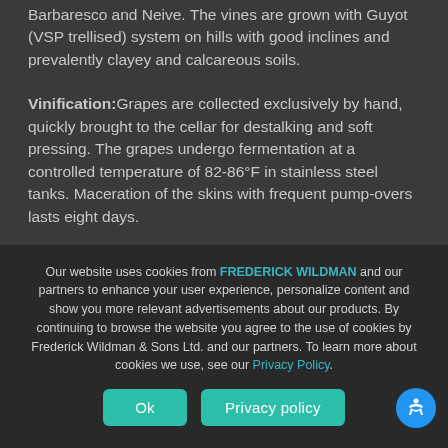Barbaresco and Neive. The vines are grown with Guyot (VSP trellised) system on hills with good inclines and prevalently clayey and calcareous soils.
Vinification: Grapes are collected exclusively by hand, quickly brought to the cellar for destalking and soft pressing. The grapes undergo fermentation at a controlled temperature of 82-86°F in stainless steel tanks. Maceration of the skins with frequent pump-overs lasts eight days.
Our website uses cookies from FREDERICK WILDMAN and our partners to enhance your user experience, personalize content and show you more relevant advertisements about our products. By continuing to browse the website you agree to the use of cookies by Frederick Wildman & Sons Ltd. and our partners. To learn more about cookies we use, see our Privacy Policy.